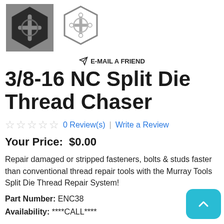[Figure (photo): Two hexagonal split die thread chaser tools: one dark/black on the left and one silver/chrome on the right]
✉ E-MAIL A FRIEND
3/8-16 NC Split Die Thread Chaser
☆☆☆☆☆  0 Review(s)  Write a Review
Your Price:  $0.00
Repair damaged or stripped fasteners, bolts & studs faster than conventional thread repair tools with the Murray Tools Split Die Thread Repair System!
Part Number: ENC38
Availability: ****CALL****